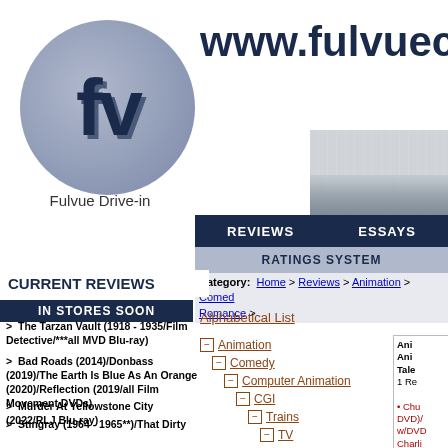[Figure (logo): Fulvue Drive-in logo: 3D letters 'fv' in dark navy blue on a grey circular background]
Fulvue Drive-in
www.fulvue...
REVIEWS    ESSAYS
RATINGS SYSTEM
Category: Home > Reviews > Animation > Comedy Romance >
CURRENT REVIEWS
IN STORES SOON
> The Tarzan Vault (1918 - 1935/Film Detective/***all MVD Blu-ray)
> Bad Roads (2014)/Donbass (2019)/The Earth Is Blue As An Orange (2020)/Reflection (2019/all Film Movement DVDs)
> Murder At Yellowstone City (2022/RLJ Blu-ray)
> Stingray (1964 - 1965**)/That Dirty Black Bag: Season 1 (2022/AMC/RLJ Blu-ray)/Wanted: Dead Or Alive (1958 - 1961/**both Via Vision PAL Region Free Import DVD Complete Series sets)
> Batwoman: The Complete Third &
Alphabetical List
- Animation
- Comedy
- Computer Animation
- CGI
- Trains
- TV
- Fantasy
- Fairy Tale
- Music
- Romance
+ Educati
Ani Ani Tale 1 Re • Chu DVD)/ w/DVD Charli